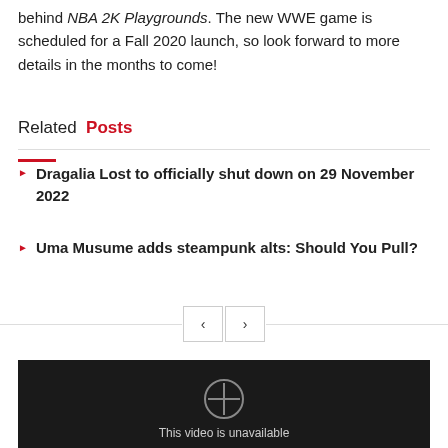behind NBA 2K Playgrounds. The new WWE game is scheduled for a Fall 2020 launch, so look forward to more details in the months to come!
Related Posts
Dragalia Lost to officially shut down on 29 November 2022
Uma Musume adds steampunk alts: Should You Pull?
[Figure (screenshot): Video player showing unavailable video with dark background and 'This video is unavailable' message]